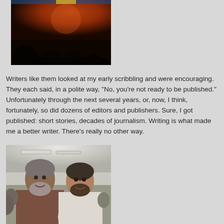[Figure (photo): Dark silhouetted audience against warm orange/red background lighting at an event]
Writers like them looked at my early scribbling and were encouraging. They each said, in a polite way, "No, you're not ready to be published." Unfortunately through the next several years, or, now, I think, fortunately, so did dozens of editors and publishers. Sure, I got published: short stories, decades of journalism. Writing is what made me a better writer. There's really no other way.
[Figure (photo): Two men smiling at camera in an indoor event setting, one older with grey beard and one middle-aged with dark beard]